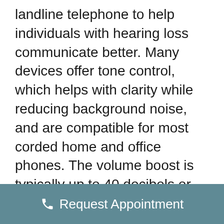landline telephone to help individuals with hearing loss communicate better. Many devices offer tone control, which helps with clarity while reducing background noise, and are compatible for most corded home and office phones. The volume boost is typically up to 40 decibels or more in some cases.
Portable telephone amplifiers are also available for those who travel often but still need a boost in volume and clarity during conversation.
Request Appointment